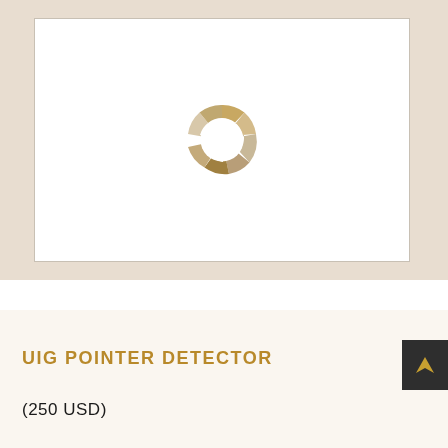[Figure (donut-chart): A donut/loading spinner style circle composed of segmented arcs in beige, tan, and golden-brown tones on a white background inside a framed box with beige border background]
UIG POINTER DETECTOR
(250 USD)